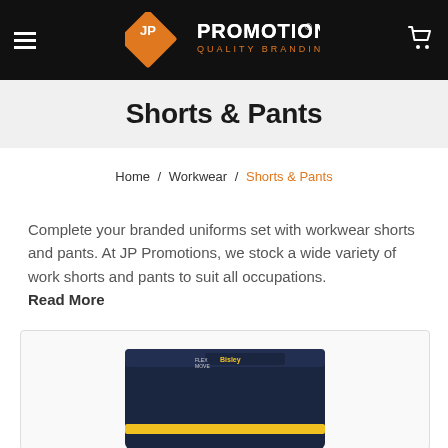JP Promotions Quality Branding — navigation header with hamburger menu and cart icon
Shorts & Pants
Home / Workwear / Shorts & Pants
Complete your branded uniforms set with workwear shorts and pants. At JP Promotions, we stock a wide variety of work shorts and pants to suit all occupations. Read More
[Figure (photo): Product photo showing a pair of dark navy Bisley branded work shorts/pants with yellow trim, partially visible at bottom of page]